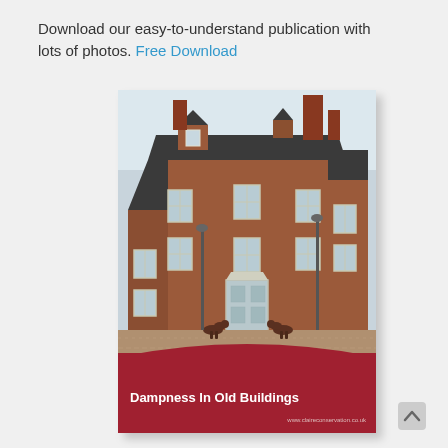Download our easy-to-understand publication with lots of photos. Free Download
[Figure (photo): Cover of a publication titled 'Dampness In Old Buildings' showing a red brick Georgian-style building with multiple sash windows, a white front door, chimneys, and two dogs in a gravel courtyard. The cover has a dark red/crimson banner at the bottom with the publication title in white bold text and a website URL.]